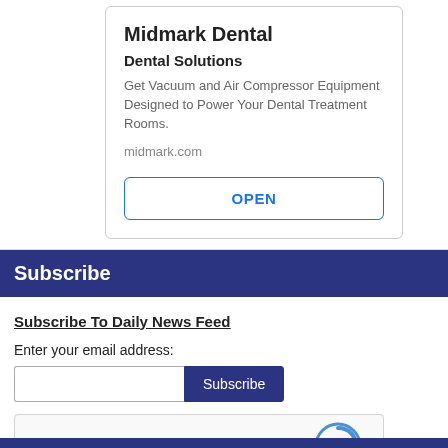Midmark Dental
Dental Solutions
Get Vacuum and Air Compressor Equipment Designed to Power Your Dental Treatment Rooms.
midmark.com
OPEN
Subscribe
Subscribe To Daily News Feed
Enter your email address:
[Figure (screenshot): reCAPTCHA widget with checkbox labeled I'm not a robot and reCAPTCHA logo with Privacy and Terms links]